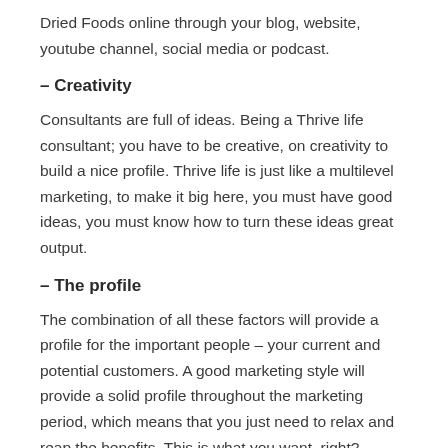Dried Foods online through your blog, website, youtube channel, social media or podcast.
– Creativity
Consultants are full of ideas. Being a Thrive life consultant; you have to be creative, on creativity to build a nice profile. Thrive life is just like a multilevel marketing, to make it big here, you must have good ideas, you must know how to turn these ideas great output.
– The profile
The combination of all these factors will provide a profile for the important people – your current and potential customers. A good marketing style will provide a solid profile throughout the marketing period, which means that you just need to relax and reap the benefits. This is what you want, right?